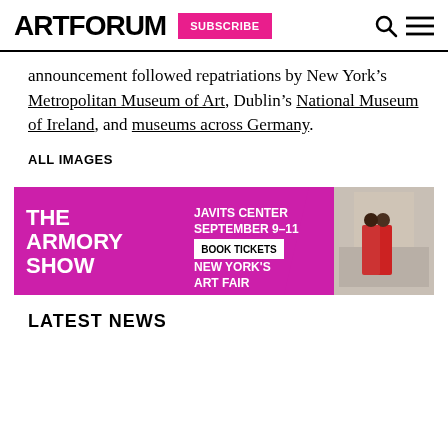ARTFORUM SUBSCRIBE
announcement followed repatriations by New York’s Metropolitan Museum of Art, Dublin’s National Museum of Ireland, and museums across Germany.
ALL IMAGES
[Figure (other): The Armory Show advertisement banner: purple/magenta background with text 'THE ARMORY SHOW', 'JAVITS CENTER SEPTEMBER 9–11', 'BOOK TICKETS', 'NEW YORK’S ART FAIR', and a photo of two people viewing art]
LATEST NEWS